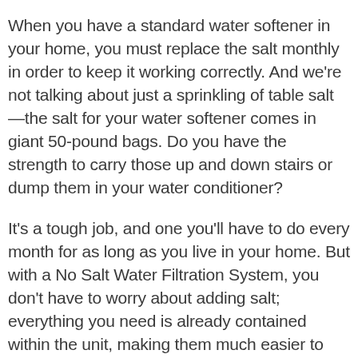When you have a standard water softener in your home, you must replace the salt monthly in order to keep it working correctly. And we're not talking about just a sprinkling of table salt—the salt for your water softener comes in giant 50-pound bags. Do you have the strength to carry those up and down stairs or dump them in your water conditioner?
It's a tough job, and one you'll have to do every month for as long as you live in your home. But with a No Salt Water Filtration System, you don't have to worry about adding salt; everything you need is already contained within the unit, making them much easier to maintain compared to typical water softeners.
3. More Efficient Water Usage